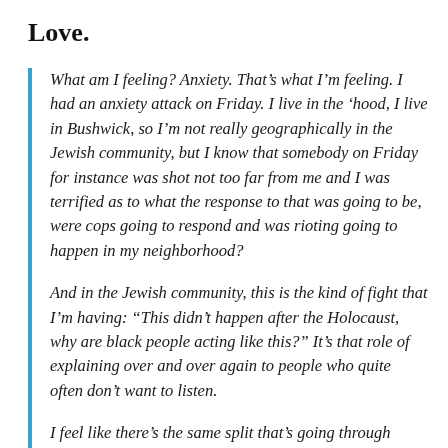Love.
What am I feeling? Anxiety. That’s what I’m feeling. I had an anxiety attack on Friday. I live in the ‘hood, I live in Bushwick, so I’m not really geographically in the Jewish community, but I know that somebody on Friday for instance was shot not too far from me and I was terrified as to what the response to that was going to be, were cops going to respond and was rioting going to happen in my neighborhood?
And in the Jewish community, this is the kind of fight that I’m having: “This didn’t happen after the Holocaust, why are black people acting like this?” It’s that role of explaining over and over again to people who quite often don’t want to listen.
I feel like there’s the same split that’s going through America inside the Jewish community through the…